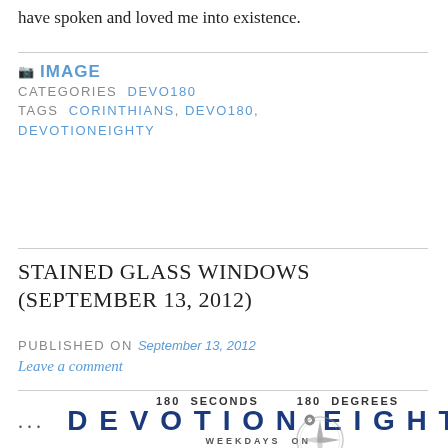have spoken and loved me into existence.
IMAGE  CATEGORIES  DEVO180  TAGS  CORINTHIANS, DEVO180, DEVOTIONEIGHTY
STAINED GLASS WINDOWS (SEPTEMBER 13, 2012)
PUBLISHED ON September 13, 2012
Leave a comment
...
[Figure (logo): DevotionEighty logo with text: 180 SECONDS  180 DEGREES  DEVOTIONEIGHTY  WEEKDAYS ON  WHERETHEWIND.COM]